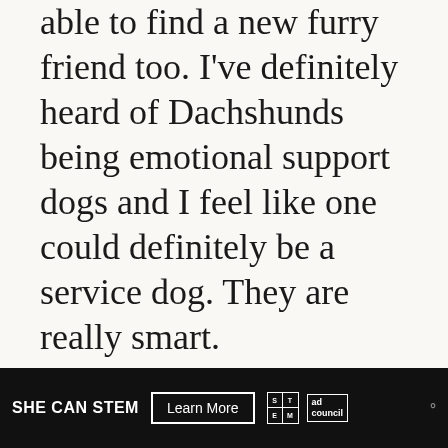able to find a new furry friend too. I've definitely heard of Dachshunds being emotional support dogs and I feel like one could definitely be a service dog. They are really smart.
Reply
Lorna Jones says
[Figure (screenshot): SHE CAN STEM advertisement banner with 'Learn More' button, STEM logo, Ad Council logo, and WM logo]